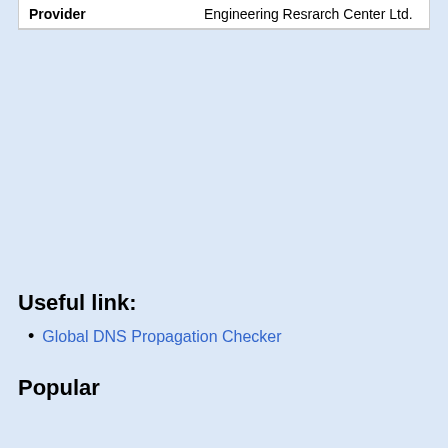| Provider |  |
| --- | --- |
| Provider | Engineering Resrarch Center Ltd. |
Useful link:
Global DNS Propagation Checker
Popular